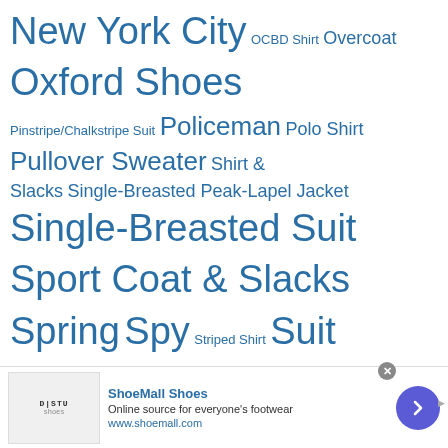New York City OCBD Shirt Overcoat Oxford Shoes Pinstripe/Chalkstripe Suit Policeman Polo Shirt Pullover Sweater Shirt & Slacks Single-Breasted Peak-Lapel Jacket Single-Breasted Suit Sport Coat & Slacks Spring Spy Striped Shirt Suit Summer Summer Relaxation T-shirt Turtleneck Tweed Suits and Jackets Warm Climate Weekend Casual What to Wear to the Office White Shirt Winter Zip-Front Jacket
I'VE BEEN TWEETING.
[Figure (screenshot): Twitter widget showing 'Tweets from @BAMFStyle' with a Follow button and partial tweet from BAMF Style @BAMFStyle 20h]
[Figure (screenshot): Infolinks advertisement for ShoeMall Shoes - 'Online source for everyone's footwear' at www.shoemall.com, with shoe image and purple arrow button]